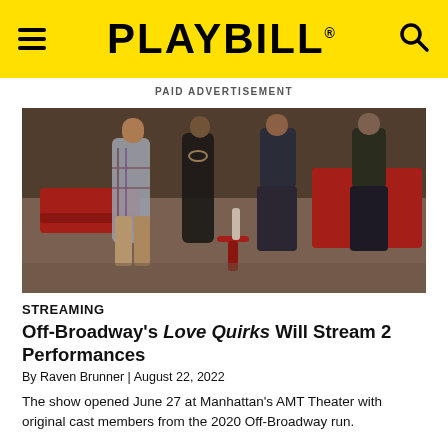PLAYBILL
PAID ADVERTISEMENT
[Figure (photo): Theater stage scene with four performers standing among red chairs and benches; one performer in a plaid shirt, one in a black dress, and two in dark clothing]
STREAMING
Off-Broadway's Love Quirks Will Stream 2 Performances
By Raven Brunner | August 22, 2022
The show opened June 27 at Manhattan's AMT Theater with original cast members from the 2020 Off-Broadway run.